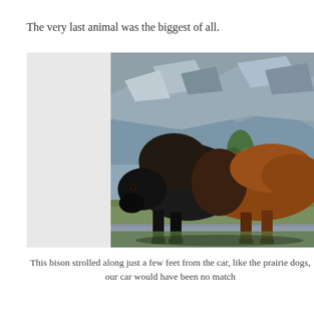The very last animal was the biggest of all.
[Figure (photo): A large bison walking along a road or path, viewed from the side. The bison has a dark black front body and brown hind quarters. Rocky, scrubby hillside terrain in the background with sparse green vegetation. Photo taken at close range from a vehicle.]
This bison strolled along just a few feet from the car, like the prairie dogs, our car would have been no match